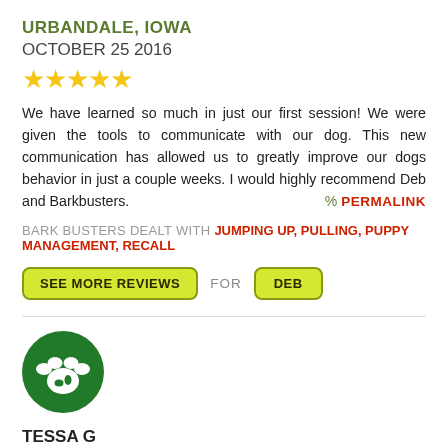URBANDALE, IOWA
OCTOBER 25 2016
[Figure (other): Five gold stars rating]
We have learned so much in just our first session! We were given the tools to communicate with our dog. This new communication has allowed us to greatly improve our dogs behavior in just a couple weeks. I would highly recommend Deb and Barkbusters.
PERMALINK
BARK BUSTERS DEALT WITH JUMPING UP, PULLING, PUPPY MANAGEMENT, RECALL
SEE MORE REVIEWS FOR DEB
[Figure (logo): Green circle with white paw print logo]
TESSA G
LAS VEGAS, NEVADA